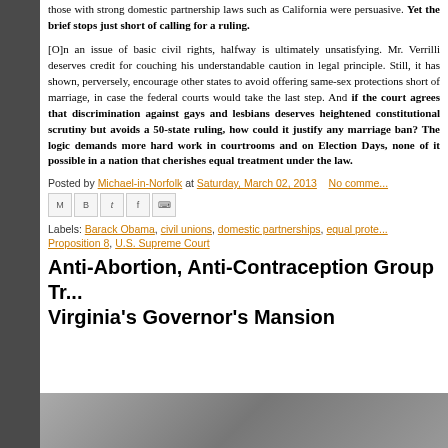those with strong domestic partnership laws such as California were persuasive. Yet the brief stops just short of calling for a ruling.
[O]n an issue of basic civil rights, halfway is ultimately unsatisfying. Mr. Verrilli deserves credit for couching his understandable caution in legal principle. Still, it has shown, perversely, encourage other states to avoid offering same-sex protections short of marriage, in case the federal courts would take the last step. And if the court agrees that discrimination against gays and lesbians deserves heightened constitutional scrutiny but avoids a 50-state ruling, how could it justify any marriage ban? The logic demands more hard work in courtrooms and on Election Days, none of it possible in a nation that cherishes equal treatment under the law.
Posted by Michael-in-Norfolk at Saturday, March 02, 2013  No comme...
[Figure (other): Social sharing icons: email (M), Blogger (B), Twitter (t), Facebook (f), Pinterest (P)]
Labels: Barack Obama, civil unions, domestic partnerships, equal prote... Proposition 8, U.S. Supreme Court
Anti-Abortion, Anti-Contraception Group Tr... Virginia's Governor's Mansion
[Figure (photo): Partial photo strip at bottom of page showing people]